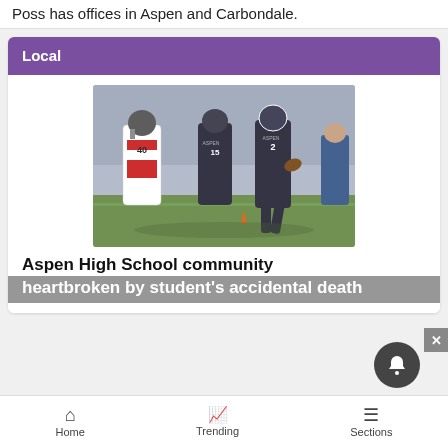Poss has offices in Aspen and Carbondale.
Local
[Figure (photo): Football players on field; player wearing Aspen #2 jersey carrying ball, chased by opposing player #40 in white/red jersey and teammate #15 in dark jersey]
Aspen High School community heartbroken by student's accidental death
Home   Trending   Sections